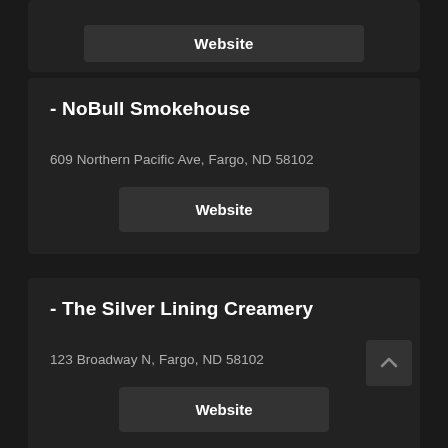[Figure (screenshot): Partial card at top showing a Website button, cut off at top]
- NoBull Smokehouse
609 Northern Pacific Ave, Fargo, ND 58102
- The Silver Lining Creamery
123 Broadway N, Fargo, ND 58102